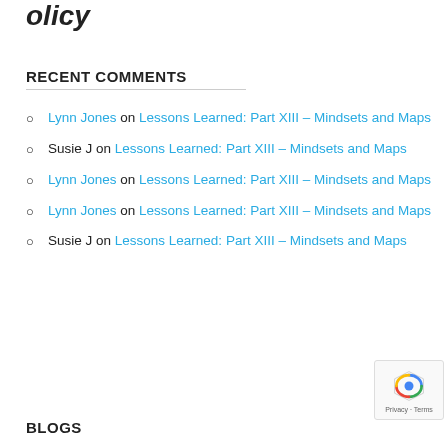olicy
RECENT COMMENTS
Lynn Jones on Lessons Learned: Part XIII – Mindsets and Maps
Susie J on Lessons Learned: Part XIII – Mindsets and Maps
Lynn Jones on Lessons Learned: Part XIII – Mindsets and Maps
Lynn Jones on Lessons Learned: Part XIII – Mindsets and Maps
Susie J on Lessons Learned: Part XIII – Mindsets and Maps
BLOGS